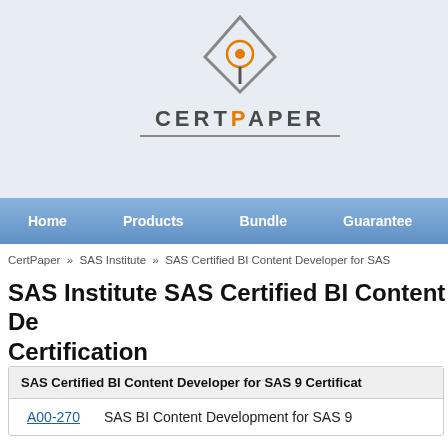CERTPAPER
Home | Products | Bundle | Guarantee | Samp
CertPaper » SAS Institute » SAS Certified BI Content Developer for SAS
SAS Institute SAS Certified BI Content Developer Certification
SAS Certified BI Content Developer for SAS 9 Certification
A00-270  SAS BI Content Development for SAS 9
Other SAS Institute Certifications
SAS Certified Base Programmer for SAS 9
SAS Certified Clinical Trials Programmer
SAS Certified BI